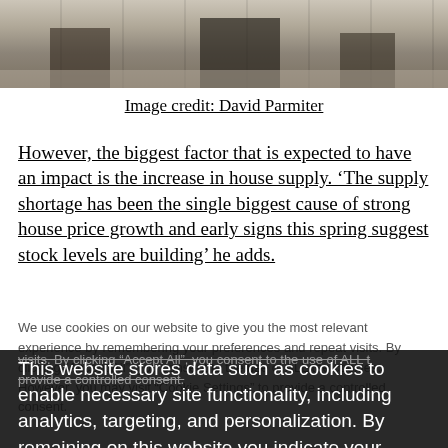[Figure (photo): Top portion of a photograph showing building facades with doors and steps, partially cropped]
Image credit: David Parmiter
However, the biggest factor that is expected to have an impact is the increase in house supply. ‘The supply shortage has been the single biggest cause of strong house price growth and early signs this spring suggest stock levels are building’ he adds.
We use cookies on our website to give you the most relevant experience by remembering your preferences and repeat visits. By clicking “Accept All”, you consent to the use of ALL t... provide a controlled consent.
This website stores data such as cookies to enable necessary site functionality, including analytics, targeting, and personalization. By remaining on this website you indicate your consent Cookie Policy